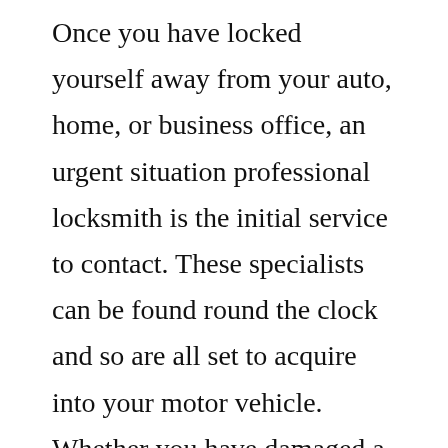Once you have locked yourself away from your auto, home, or business office, an urgent situation professional locksmith is the initial service to contact. These specialists can be found round the clock and so are all set to acquire into your motor vehicle. Whether you have damaged a key, misplaced your keys, or will be in a lockout condition, an emergency locksmith may help. An unexpected emergency professional locksmith can provide a short-term replacing crucial, or they may substitute the entire lock system if it's